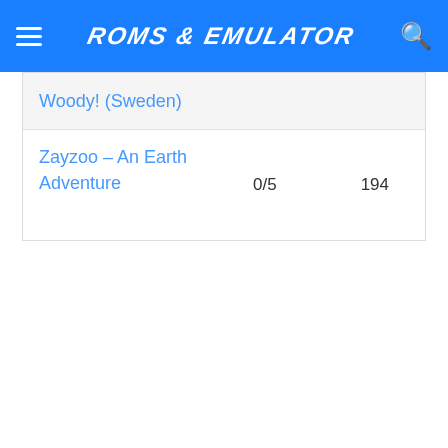ROMS & EMULATOR
Woody! (Sweden)
Zayzoo – An Earth Adventure   0/5   194